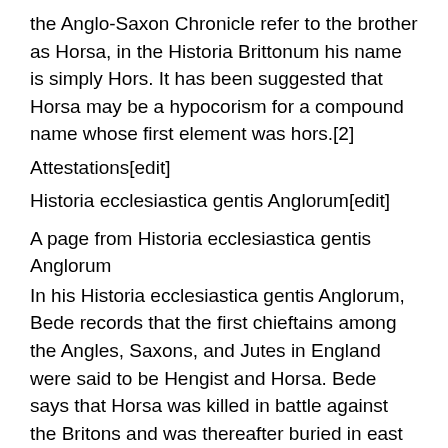the Anglo-Saxon Chronicle refer to the brother as Horsa, in the Historia Brittonum his name is simply Hors. It has been suggested that Horsa may be a hypocorism for a compound name whose first element was hors.[2]
Attestations[edit]
Historia ecclesiastica gentis Anglorum[edit]
A page from Historia ecclesiastica gentis Anglorum
In his Historia ecclesiastica gentis Anglorum, Bede records that the first chieftains among the Angles, Saxons, and Jutes in England were said to be Hengist and Horsa. Bede says that Horsa was killed in battle against the Britons and was thereafter buried in east Kent. Bede adds that a monument bearing Horsa’s name stood in east Kent at the time of his writing. According to Bede, Hengist and Horsa were the sons of Wictgils, son of Witta, son of Wecta, son of Wictgils. When that common source is Bede’s account,